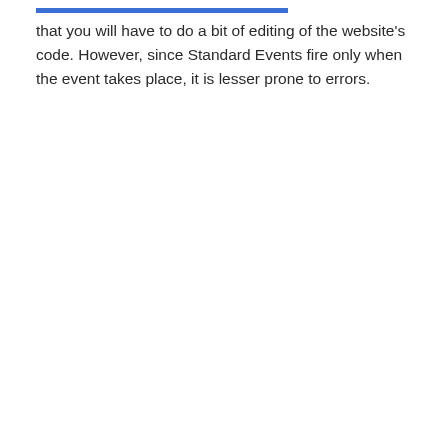that you will have to do a bit of editing of the website's code. However, since Standard Events fire only when the event takes place, it is lesser prone to errors.